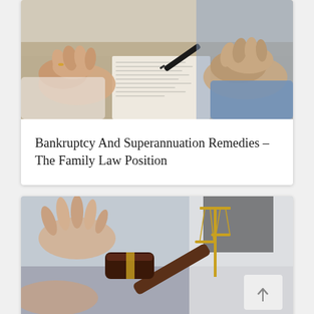[Figure (photo): Two people sitting across from each other at a table, both with hands clasped, with a document and pen between them — a legal consultation or signing scene]
Bankruptcy And Superannuation Remedies – The Family Law Position
[Figure (photo): Legal scene showing a gavel, scales of justice in gold, and a person in a white blazer in the background, with a hand gesturing in the foreground]